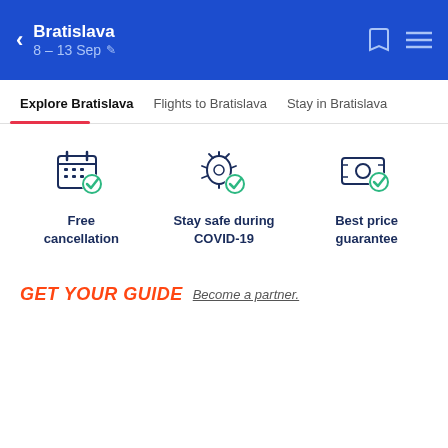Bratislava 8 - 13 Sep
Explore Bratislava | Flights to Bratislava | Stay in Bratislava
[Figure (infographic): Three feature icons: Free cancellation (calendar with checkmark), Stay safe during COVID-19 (bug/virus with checkmark), Best price guarantee (money with checkmark)]
GET YOUR GUIDE Become a partner.